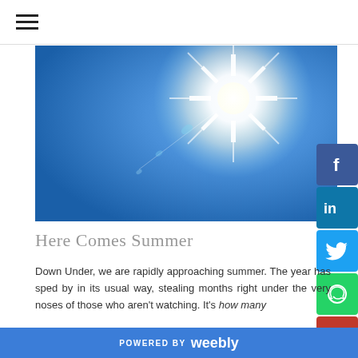≡ (hamburger menu icon)
[Figure (photo): Bright sun shining in a clear blue sky with lens flare, viewed from below. The sun appears as a brilliant white starburst against a gradient blue sky.]
Here Comes Summer
Down Under, we are rapidly approaching summer. The year has sped by in its usual way, stealing months right under the very noses of those who aren't watching. It's how many
POWERED BY weebly